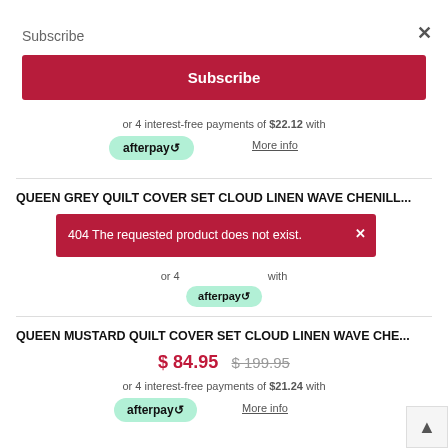Subscribe
×
Subscribe
or 4 interest-free payments of $22.12 with
[Figure (logo): Afterpay logo badge with arrow icon]
More info
QUEEN GREY QUILT COVER SET CLOUD LINEN WAVE CHENILL...
404 The requested product does not exist.
or 4 interest-free payments of with
QUEEN MUSTARD QUILT COVER SET CLOUD LINEN WAVE CHE...
$ 84.95  $ 199.95
or 4 interest-free payments of $21.24 with
[Figure (logo): Afterpay logo badge with arrow icon]
More info